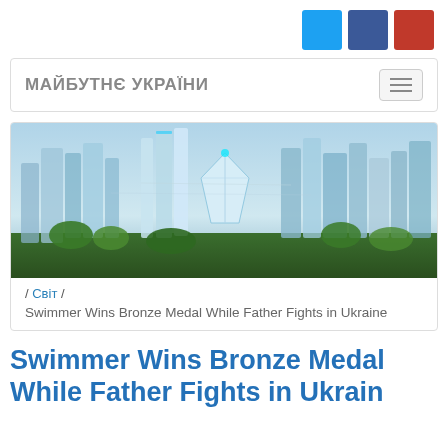МАЙБУТНЄ УКРАЇНИ — navigation bar with social icons
[Figure (screenshot): Navigation bar showing 'МАЙБУТНЄ УКРАЇНИ' site title with hamburger menu and Twitter, Facebook, YouTube social buttons]
[Figure (photo): Aerial view of a futuristic city with skyscrapers, glowing structures, and lush greenery]
/ Світ /
Swimmer Wins Bronze Medal While Father Fights in Ukraine
Swimmer Wins Bronze Medal While Father Fights in Ukraine